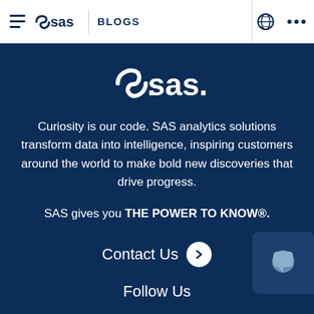SAS | BLOGS
[Figure (logo): SAS logo in white on dark blue background]
Curiosity is our code. SAS analytics solutions transform data into intelligence, inspiring customers around the world to make bold new discoveries that drive progress.
SAS gives you THE POWER TO KNOW®.
Contact Us
Follow Us